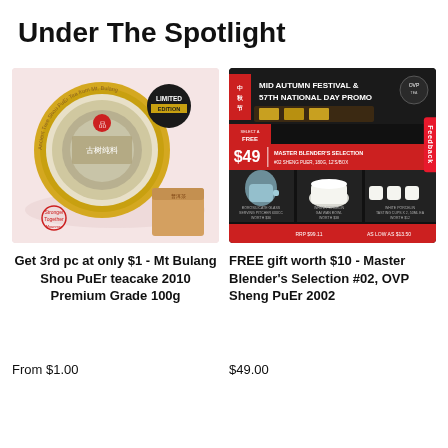Under The Spotlight
[Figure (photo): Product photo of Mt Bulang Shou PuEr teacake 2010, showing a round tea cake with Chinese text and a 'Limited Edition' badge, alongside a small box packaging. Features a decorative logo at the bottom left.]
Get 3rd pc at only $1 - Mt Bulang Shou PuEr teacake 2010 Premium Grade 100g
From $1.00
[Figure (photo): Promotional banner for Mid Autumn Festival & 57th National Day Promo. Dark background with images of tea sets and teaware. Shows $49 price for Master Blender's Selection #02 Sheng PuEr. Includes OVP branding and FREE gift offer. Displays Borosilicate Glass Serving Pitcher 600cc, White Porcelin Gai Wan Bowl, and White Porcelin Tasting Cups x 2 as gifts. Has a red Feedback tab on the right side.]
FREE gift worth $10 - Master Blender's Selection #02, OVP Sheng PuEr 2002
$49.00